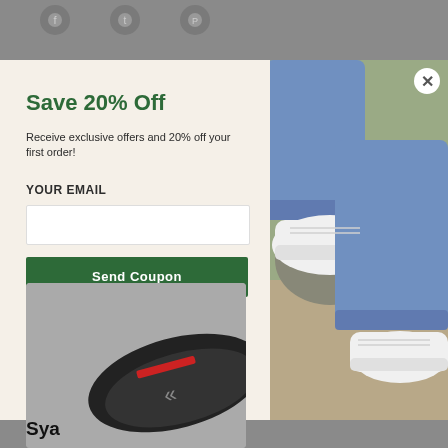[Figure (screenshot): Social media sharing icons (Facebook, Twitter, Pinterest) at the top of the page on a grey background]
[Figure (photo): Pop-up modal with cream left panel showing email signup form and right panel showing photo of person wearing white sneakers outdoors]
Save 20% Off
Receive exclusive offers and 20% off your first order!
YOUR EMAIL
Send Coupon
[Figure (photo): Product image of a dark shoe sole/bottom visible at bottom left of page]
Sya